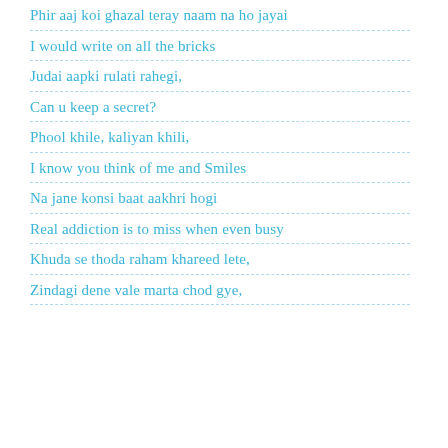Phir aaj koi ghazal teray naam na ho jayai
I would write on all the bricks
Judai aapki rulati rahegi,
Can u keep a secret?
Phool khile, kaliyan khili,
I know you think of me and Smiles
Na jane konsi baat aakhri hogi
Real addiction is to miss when even busy
Khuda se thoda raham khareed lete,
Zindagi dene vale marta chod gye,